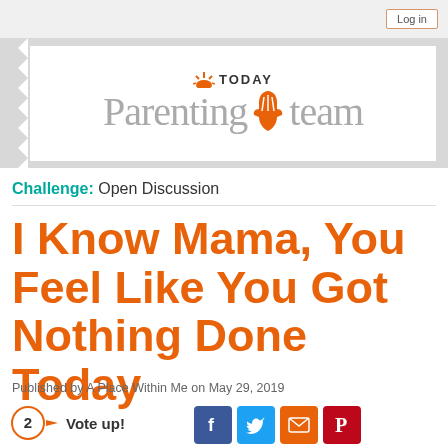Log in
[Figure (logo): TODAY Parenting Team logo with sunrise icon and hand icon in orange/gray]
Challenge: Open Discussion
I Know Mama, You Feel Like You Got Nothing Done Today
Published by A Place Within Me on May 29, 2019
2 Vote up!
[Figure (other): Social share buttons: Facebook, Twitter, Email, Pinterest]